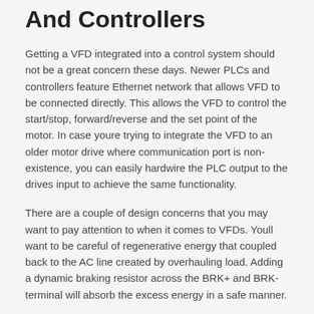And Controllers
Getting a VFD integrated into a control system should not be a great concern these days. Newer PLCs and controllers feature Ethernet network that allows VFD to be connected directly. This allows the VFD to control the start/stop, forward/reverse and the set point of the motor. In case youre trying to integrate the VFD to an older motor drive where communication port is non-existence, you can easily hardwire the PLC output to the drives input to achieve the same functionality.
There are a couple of design concerns that you may want to pay attention to when it comes to VFDs. Youll want to be careful of regenerative energy that coupled back to the AC line created by overhauling load. Adding a dynamic braking resistor across the BRK+ and BRK- terminal will absorb the excess energy in a safe manner.
In applications that require your motor to run much at a much higher frequency than its specified rating, the motor